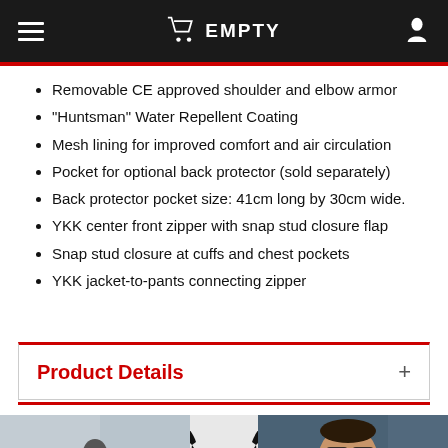EMPTY
Removable CE approved shoulder and elbow armor
"Huntsman" Water Repellent Coating
Mesh lining for improved comfort and air circulation
Pocket for optional back protector (sold separately)
Back protector pocket size: 41cm long by 30cm wide.
YKK center front zipper with snap stud closure flap
Snap stud closure at cuffs and chest pockets
YKK jacket-to-pants connecting zipper
Product Details
[Figure (photo): Bottom strip showing: left - man with beard on motorcycle, center - phoenix logo, right - bearded man portrait in blue jacket]